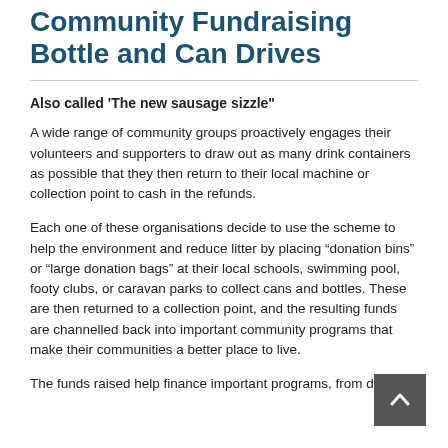Community Fundraising Bottle and Can Drives
Also called ‘The new sausage sizzle”
A wide range of community groups proactively engages their volunteers and supporters to draw out as many drink containers as possible that they then return to their local machine or collection point to cash in the refunds.
Each one of these organisations decide to use the scheme to help the environment and reduce litter by placing “donation bins” or “large donation bags” at their local schools, swimming pool, footy clubs, or caravan parks to collect cans and bottles. These are then returned to a collection point, and the resulting funds are channelled back into important community programs that make their communities a better place to live.
The funds raised help finance important programs, from drought